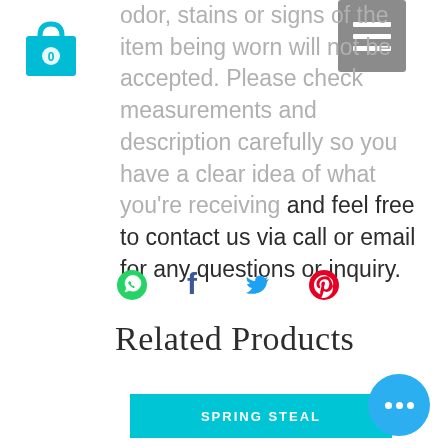[Figure (other): Shopping bag icon with number 0, cyan/teal color, top-left corner]
[Figure (other): Hamburger menu button, grey background with three white bars, top-right corner]
odor, stains or signs of the item being worn will not be accepted. Please check measurements and description carefully so you have a clear idea of what you're receiving and feel free to contact us via call or email for any questions or inquiry.
[Figure (other): Social sharing icons row: WhatsApp (green), Facebook (dark blue), Twitter (light blue), Pinterest (red)]
Related Products
[Figure (other): Cyan button labeled SPRING STEAL]
[Figure (other): Blue circular chat/more-options bubble with three dots, bottom-right corner]